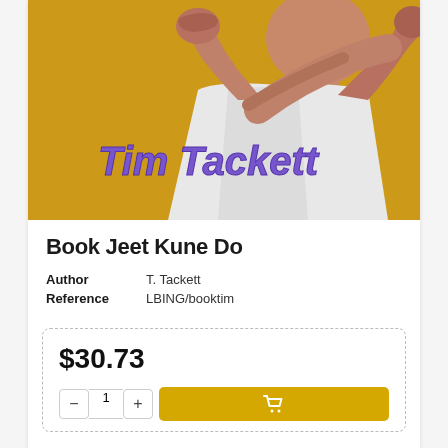[Figure (photo): Book cover photo of an elderly man in a white t-shirt in a fighting stance with fists raised, against a golden/yellow background. The name 'Tim Tackett' is overlaid in purple bold italic text across the lower portion of the image.]
Book Jeet Kune Do
Author: T. Tackett
Reference: LBING/booktim
$30.73